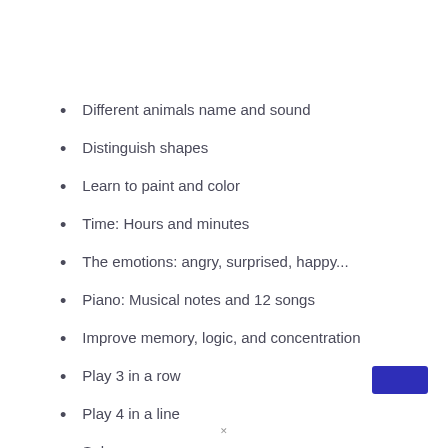Different animals name and sound
Distinguish shapes
Learn to paint and color
Time: Hours and minutes
The emotions: angry, surprised, happy...
Piano: Musical notes and 12 songs
Improve memory, logic, and concentration
Play 3 in a row
Play 4 in a line
Solve mazes